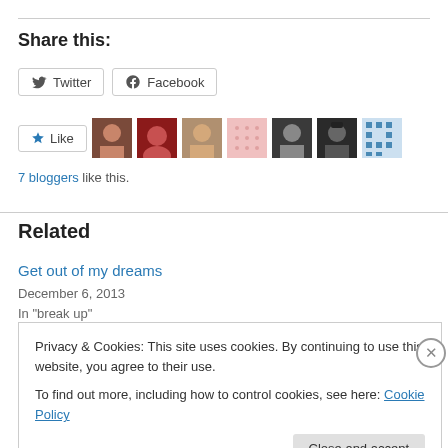Share this:
[Figure (other): Twitter and Facebook share buttons]
[Figure (other): Like button with 7 blogger avatars]
7 bloggers like this.
Related
Get out of my dreams
December 6, 2013
In "break up"
Privacy & Cookies: This site uses cookies. By continuing to use this website, you agree to their use.
To find out more, including how to control cookies, see here: Cookie Policy